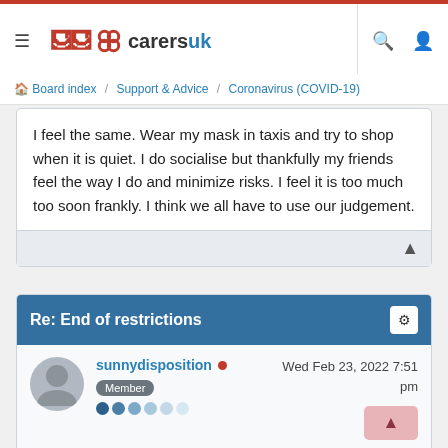carersuk — Board index / Support & Advice / Coronavirus (COVID-19)
I feel the same. Wear my mask in taxis and try to shop when it is quiet. I do socialise but thankfully my friends feel the way I do and minimize risks. I feel it is too much too soon frankly. I think we all have to use our judgement.
Re: End of restrictions
sunnydisposition • Wed Feb 23, 2022 7:51 pm — Member
I was looking forward to my 4th booster vaccine and so was